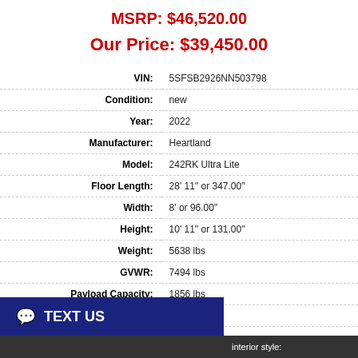MSRP: $46,520.00
Our Price: $39,450.00
| Label | Value |
| --- | --- |
| VIN: | 5SFSB2926NN503798 |
| Condition: | new |
| Year: | 2022 |
| Manufacturer: | Heartland |
| Model: | 242RK Ultra Lite |
| Floor Length: | 28' 11" or 347.00" |
| Width: | 8' or 96.00" |
| Height: | 10' 11" or 131.00" |
| Weight: | 5638 lbs |
| GVWR: | 7494 lbs |
| Payload Capacity: | 1856 lbs |
| Sleeps: | 6 |
| Slideouts: | 1 |
| Interior Style: | Urban Loft |